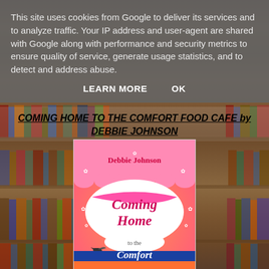This site uses cookies from Google to deliver its services and to analyze traffic. Your IP address and user-agent are shared with Google along with performance and security metrics to ensure quality of service, generate usage statistics, and to detect and address abuse.
LEARN MORE    OK
COMING HOME TO THE COMFORT FOOD CAFE by DEBBIE JOHNSON
[Figure (illustration): Book cover for 'Coming Home to the Comfort Food Cafe' by Debbie Johnson. Pink and orange cover with a white oval in the center containing the title text in pink/red italic font. Author name at the top in red. A blue band near the bottom with the word 'Comfort'. Decorative snowflakes and a small bird silhouette.]